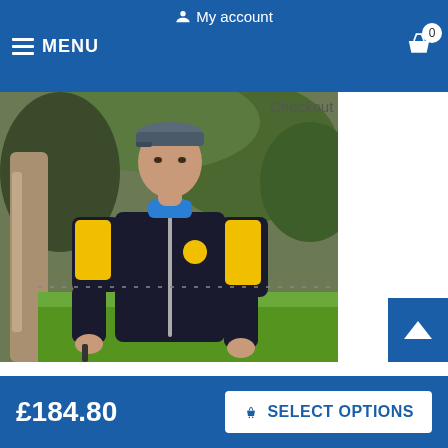My account
MENU
[Figure (photo): Man wearing a black and yellow shooting/sport jacket with embroidered logo, standing outdoors in front of green foliage, holding a pistol at his side, wearing a grey cap.]
Checkout
£184.80
SELECT OPTIONS